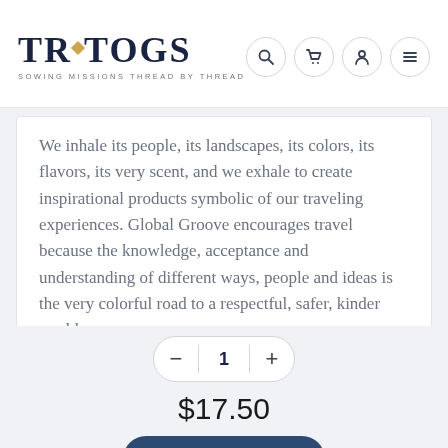[Figure (logo): TRUTOGS logo with gold diamond accent and tagline SOWING MISSIONS THREAD BY THREAD]
[Figure (infographic): Navigation icons: search, cart, account, menu (hamburger)]
We inhale its people, its landscapes, its colors, its flavors, its very scent, and we exhale to create inspirational products symbolic of our traveling experiences. Global Groove encourages travel because the knowledge, acceptance and understanding of different ways, people and ideas is the very colorful road to a respectful, safer, kinder world.
1
$17.50
Add to Cart